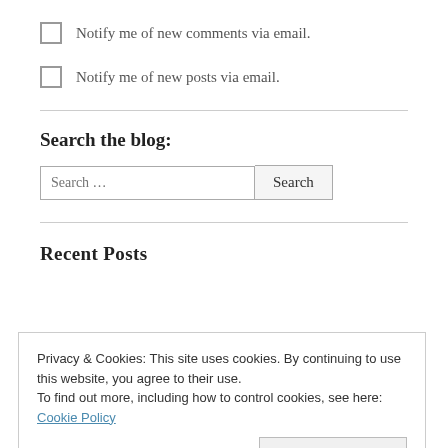Notify me of new comments via email.
Notify me of new posts via email.
Search the blog:
Search …  Search
Recent Posts
Privacy & Cookies: This site uses cookies. By continuing to use this website, you agree to their use.
To find out more, including how to control cookies, see here: Cookie Policy
Close and accept
This Was Big Brother